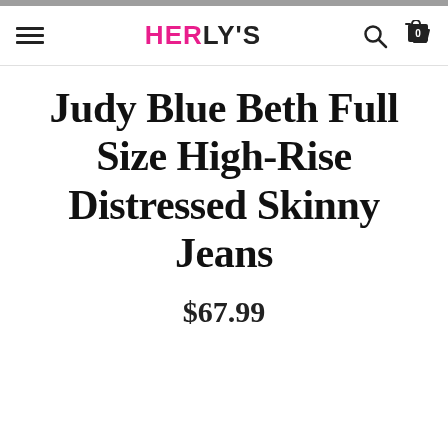HERLY'S
Judy Blue Beth Full Size High-Rise Distressed Skinny Jeans
$67.99